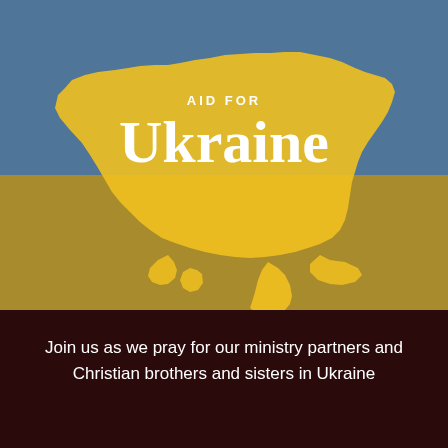[Figure (illustration): Map of Ukraine shown with blue and yellow Ukrainian flag colors overlaid on the country shape, with dark gray background. The upper half is blue and the lower half yellow, representing the Ukrainian flag. The map silhouette shows Ukraine including Crimea peninsula.]
AID FOR
Ukraine
Join us as we pray for our ministry partners and Christian brothers and sisters in Ukraine